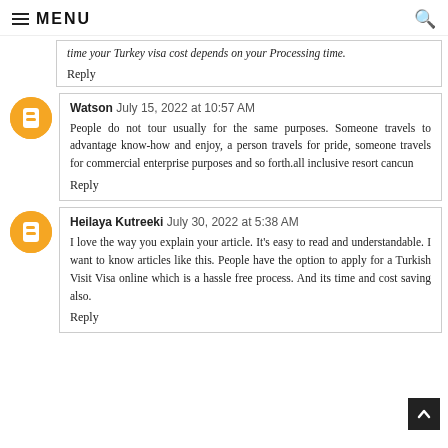MENU
...time your Turkey visa cost depends on your Processing time.
Reply
Watson  July 15, 2022 at 10:57 AM
People do not tour usually for the same purposes. Someone travels to advantage know-how and enjoy, a person travels for pride, someone travels for commercial enterprise purposes and so forth.all inclusive resort cancun
Reply
Heilaya Kutreeki  July 30, 2022 at 5:38 AM
I love the way you explain your article. It's easy to read and understandable. I want to know articles like this. People have the option to apply for a Turkish Visit Visa online which is a hassle free process. And its time and cost saving also.
Reply